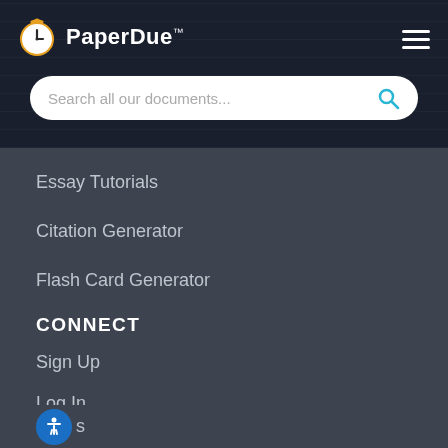[Figure (logo): PaperDue logo with clock/timer icon and brand name]
Search all our documents...
Essay Tutorials
Citation Generator
Flash Card Generator
Homework Help
CONNECT
Sign Up
Log In
s